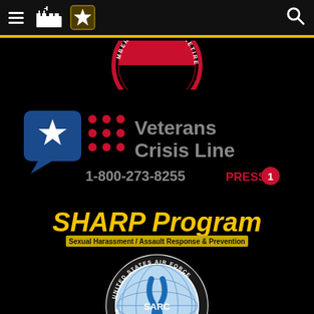U.S. Army menu and search header bar
[Figure (logo): Partial circular seal with text MEMBERS · FAMILIES · RETIREES at top]
[Figure (logo): Veterans Crisis Line logo with blue speech bubble with star, red dot grid, gray text 'Veterans Crisis Line', and phone number 1-800-273-8255 PRESS 1]
[Figure (logo): SHARP Program logo - Sexual Harassment / Assault Response & Prevention, yellow bold text on black with yellow bar subtitle]
[Figure (logo): United States Air Force Sexual Assault Prevention Response Program (SARC) circular seal with globe and blue ribbon]